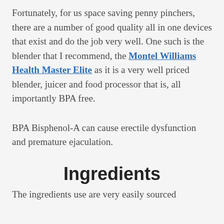Fortunately, for us space saving penny pinchers, there are a number of good quality all in one devices that exist and do the job very well. One such is the blender that I recommend, the Montel Williams Health Master Elite as it is a very well priced blender, juicer and food processor that is, all importantly BPA free.
BPA Bisphenol-A can cause erectile dysfunction and premature ejaculation.
Ingredients
The ingredients use are very easily sourced